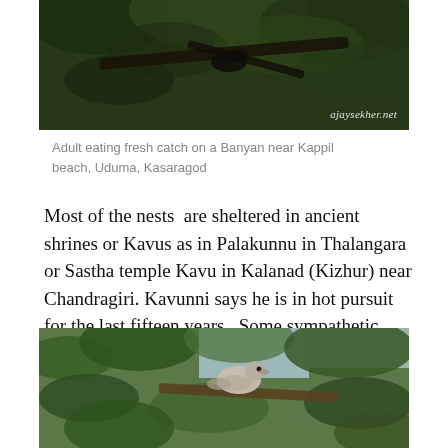[Figure (photo): Bird eating fresh catch on a Banyan tree, dark green foliage background with ajaysekher.net watermark]
Adult eating fresh catch on a Banyan near Kappil beach, Uduma, Kasaragod
Most of the nests  are sheltered in ancient shrines or Kavus as in Palakunnu in Thalangara or Sastha temple Kavu in Kalanad (Kizhur) near Chandragiri.  Kavunni says he is in hot pursuit for the last fifteen years.  Some sympathetic families are also protecting the nests like the Shenoys of Bekal and Basheer family of Muttam north of Kumbala.
[Figure (photo): Bird (likely a pigeon or dove) perched among dense green leafy branches]